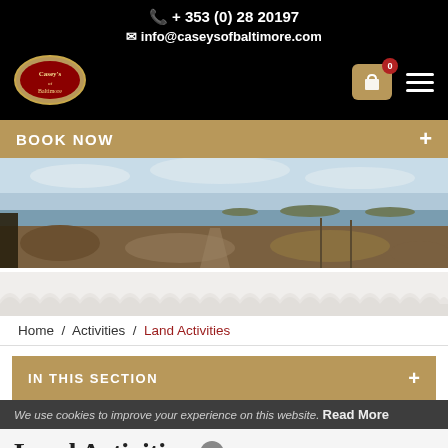+ 353 (0) 28 20197
info@caseysofbaltimore.com
[Figure (logo): Casey's of Baltimore oval logo in red and gold]
BOOK NOW
[Figure (photo): Panoramic landscape photo of Irish countryside with sea and islands in background]
Home / Activities / Land Activities
IN THIS SECTION
We use cookies to improve your experience on this website. Read More
Land Activities